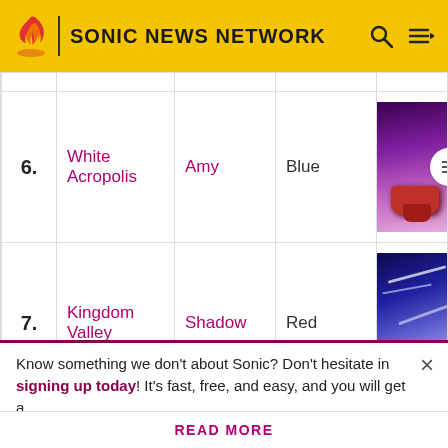SONIC NEWS NETWORK
| # | Level | Character | Color | Image |
| --- | --- | --- | --- | --- |
| 6. | White Acropolis | Amy | Blue | [image] |
| 7. | Kingdom Valley | Shadow | Red | [image] |
[Figure (other): Advertisement banner placeholder (grey rectangle)]
Know something we don't about Sonic? Don't hesitate in signing up today! It's fast, free, and easy, and you will get a
READ MORE